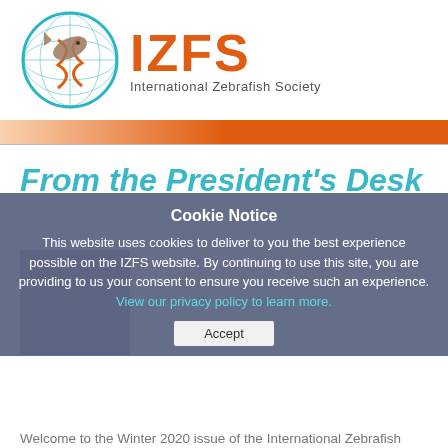[Figure (logo): IZFS International Zebrafish Society logo with circular fish and DNA graphic, orange IZFS text, and subtitle]
From the President's Desk
Cookie Notice
This website uses cookies to deliver to you the best experience possible on the IZFS website. By continuing to use this site, you are providing to us your consent to ensure you receive such an experience. View our privacy policy to learn more.
Accept
Welcome to the Winter 2020 issue of the International Zebrafish newsletter! There are updates here at IZFS, and many chan